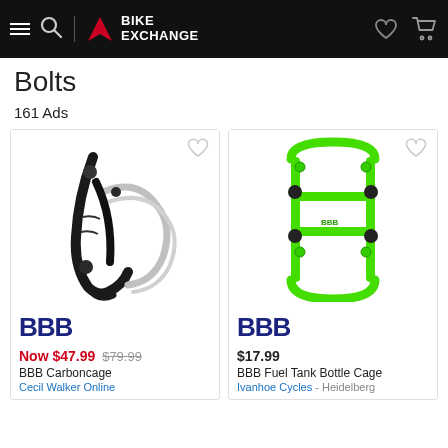BikeExchange
Bolts
161 Ads
[Figure (photo): Black carbon bicycle bottle cage (BBB Carboncage)]
[Figure (photo): Green metal bicycle bottle cage (BBB Fuel Tank Bottle Cage)]
Now $47.99 $79.99
BBB Carboncage
Cecil Walker Online
$17.99
BBB Fuel Tank Bottle Cage
Ivanhoe Cycles - Heidelberg